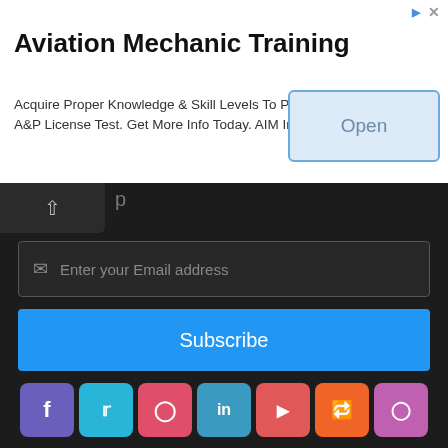[Figure (screenshot): Advertisement banner for Aviation Mechanic Training with Open button]
Aviation Mechanic Training
Acquire Proper Knowledge & Skill Levels To Pass The A&P License Test. Get More Info Today. AIM Institute
p
Enter your Email address
Subscribe
[Figure (illustration): Row of 7 social media icons: Facebook, Twitter, Pinterest, LinkedIn, YouTube, Reddit, Instagram]
© Copyright 2022, All Rights Reserved | ❤ JAFEL
About  Contact Us  Affiliate Disclosure  Privacy Policy
Terms of Use  Sitemap